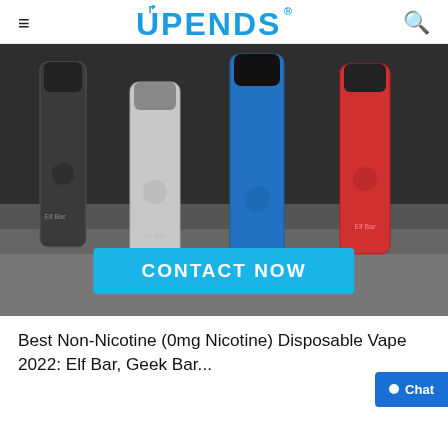UPENDS
[Figure (photo): Product photo showing multiple slim disposable vape pen devices in dark grey, silver, blue, and red colors standing upright on stepped grey platform. A cyan blue 'CONTACT NOW' button is overlaid at the bottom center of the image.]
Best Non-Nicotine (0mg Nicotine) Disposable Vape 2022: Elf Bar, Geek Bar...